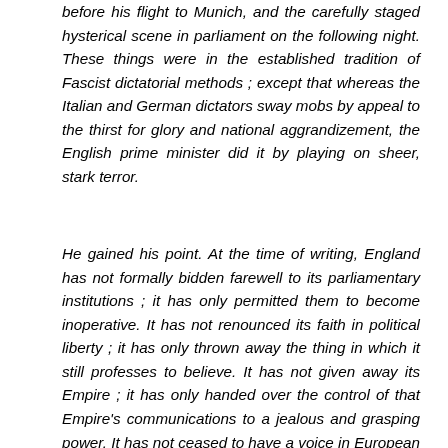before his flight to Munich, and the carefully staged hysterical scene in parliament on the following night. These things were in the established tradition of Fascist dictatorial methods ; except that whereas the Italian and German dictators sway mobs by appeal to the thirst for glory and national aggrandizement, the English prime minister did it by playing on sheer, stark terror.
He gained his point. At the time of writing, England has not formally bidden farewell to its parliamentary institutions ; it has only permitted them to become inoperative. It has not renounced its faith in political liberty ; it has only thrown away the thing in which it still professes to believe. It has not given away its Empire ; it has only handed over the control of that Empire's communications to a jealous and grasping power. It has not ceased to have a voice in European affairs ; it has only accepted that voice t...